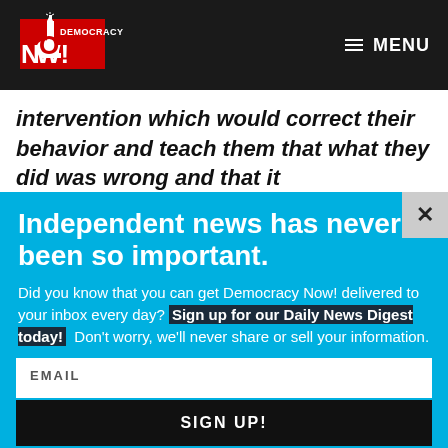Democracy Now! | MENU
intervention which would correct their behavior and teach them that what they did was wrong and that it
Independent news has never been so important.
Did you know that you can get Democracy Now! delivered to your inbox every day? Sign up for our Daily News Digest today! Don't worry, we'll never share or sell your information.
EMAIL
SIGN UP!